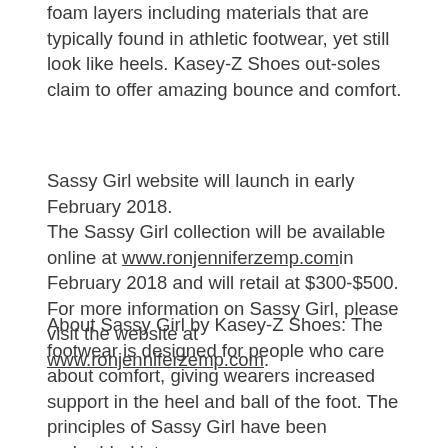foam layers including materials that are typically found in athletic footwear, yet still look like heels. Kasey-Z Shoes out-soles claim to offer amazing bounce and comfort.
Sassy Girl website will launch in early February 2018. The Sassy Girl collection will be available online at www.ronjenniferzemp.com in February 2018 and will retail at $300-$500. For more information on Sassy Girl, please visit the website at www.ronjenniferzemp.com.
About Sassy Girl by Kasey-Z Shoes: The footwear is designed for people who care about comfort, giving wearers increased support in the heel and ball of the foot. The principles of Sassy Girl have been embedded into